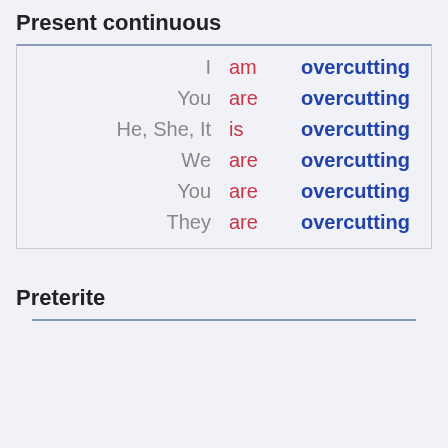Present continuous
| Pronoun | Auxiliary | Verb |
| --- | --- | --- |
| I | am | overcutting |
| You | are | overcutting |
| He, She, It | is | overcutting |
| We | are | overcutting |
| You | are | overcutting |
| They | are | overcutting |
Preterite